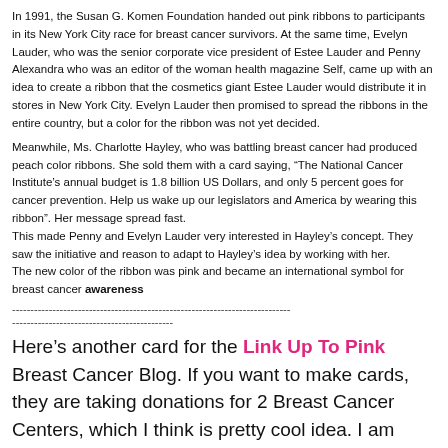In 1991, the Susan G. Komen Foundation handed out pink ribbons to participants in its New York City race for breast cancer survivors. At the same time, Evelyn Lauder, who was the senior corporate vice president of Estee Lauder and Penny Alexandra who was an editor of the woman health magazine Self, came up with an idea to create a ribbon that the cosmetics giant Estee Lauder would distribute it in stores in New York City. Evelyn Lauder then promised to spread the ribbons in the entire country, but a color for the ribbon was not yet decided.
Meanwhile, Ms. Charlotte Hayley, who was battling breast cancer had produced peach color ribbons. She sold them with a card saying, “The National Cancer Institute's annual budget is 1.8 billion US Dollars, and only 5 percent goes for cancer prevention. Help us wake up our legislators and America by wearing this ribbon”. Her message spread fast.
This made Penny and Evelyn Lauder very interested in Hayley’s concept. They saw the initiative and reason to adapt to Hayley’s idea by working with her.
The new color of the ribbon was pink and became an international symbol for breast cancer awareness
---------------------------------------------------------------------------- --------------------------------------------
Here's another card for the Link Up To Pink Breast Cancer Blog. If you want to make cards, they are taking donations for 2 Breast Cancer Centers, which I think is pretty cool idea. I am fortunate to not have had any breast cancer scares nor any of my friends or family but my heart goes out to every